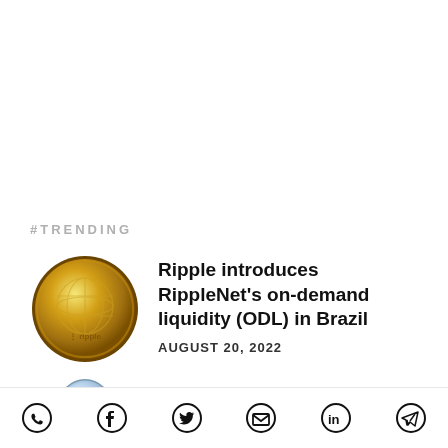#TRENDING
[Figure (photo): Gold Ripple XRP coin with globe/world map design]
Ripple introduces RippleNet's on-demand liquidity (ODL) in Brazil
AUGUST 20, 2022
[Figure (photo): Partial view of a coin or globe, cropped at bottom]
Paytm is not planning any acquisition and
Share icons: WhatsApp, Facebook, Twitter, Email, LinkedIn, Telegram